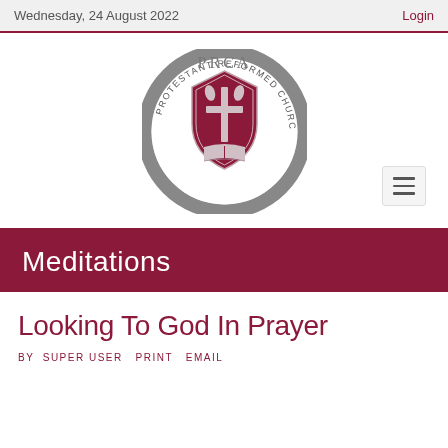Wednesday, 24 August 2022   Login
[Figure (logo): PRCA Protestant Reformed Churches in America circular seal/logo with shield, cross, and open book in dark red and gray]
Meditations
Looking To God In Prayer
BY  SUPER USER  PRINT  EMAIL